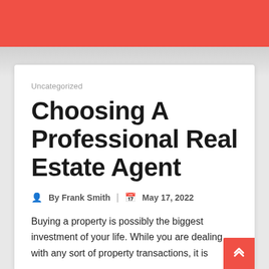Uncategorized
Choosing A Professional Real Estate Agent
By Frank Smith  |  May 17, 2022
Buying a property is possibly the biggest investment of your life. While you are dealing with any sort of property transactions, it is